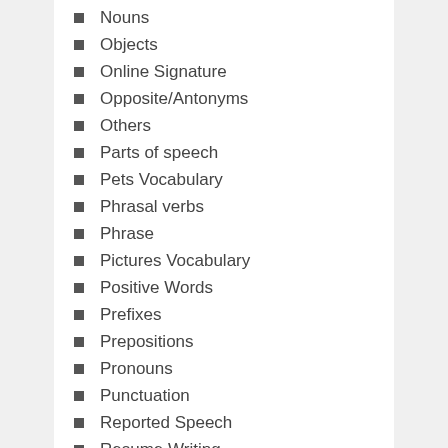Nouns
Objects
Online Signature
Opposite/Antonyms
Others
Parts of speech
Pets Vocabulary
Phrasal verbs
Phrase
Pictures Vocabulary
Positive Words
Prefixes
Prepositions
Pronouns
Punctuation
Reported Speech
Resume Writing